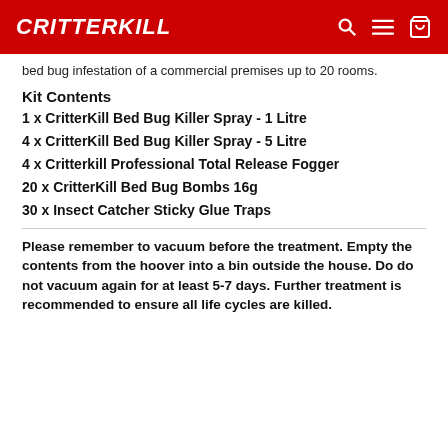CRITTERKILL
bed bug infestation of a commercial premises up to 20 rooms.
Kit Contents
1 x CritterKill Bed Bug Killer Spray - 1 Litre
4 x CritterKill Bed Bug Killer Spray - 5 Litre
4 x Critterkill Professional Total Release Fogger
20 x CritterKill Bed Bug Bombs 16g
30 x Insect Catcher Sticky Glue Traps
Please remember to vacuum before the treatment. Empty the contents from the hoover into a bin outside the house. Do do not vacuum again for at least 5-7 days. Further treatment is recommended to ensure all life cycles are killed.